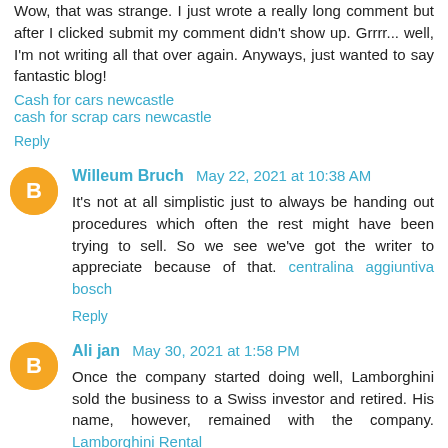Wow, that was strange. I just wrote a really long comment but after I clicked submit my comment didn't show up. Grrrr... well, I'm not writing all that over again. Anyways, just wanted to say fantastic blog!
Cash for cars newcastle
cash for scrap cars newcastle
Reply
Willeum Bruch May 22, 2021 at 10:38 AM
It's not at all simplistic just to always be handing out procedures which often the rest might have been trying to sell. So we see we've got the writer to appreciate because of that. centralina aggiuntiva bosch
Reply
Ali jan May 30, 2021 at 1:58 PM
Once the company started doing well, Lamborghini sold the business to a Swiss investor and retired. His name, however, remained with the company. Lamborghini Rental